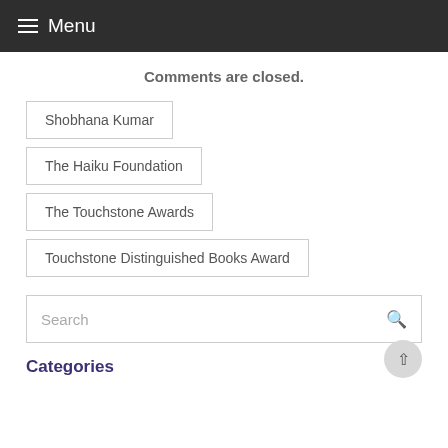≡ Menu
Comments are closed.
Shobhana Kumar
The Haiku Foundation
The Touchstone Awards
Touchstone Distinguished Books Award
Search
Categories